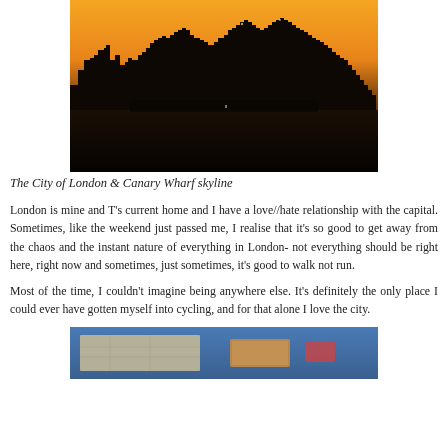[Figure (photo): A night/dusk skyline photograph of The City of London and Canary Wharf, silhouetted against an orange-yellow sky]
The City of London & Canary Wharf skyline
London is mine and T's current home and I have a love//hate relationship with the capital. Sometimes, like the weekend just passed me, I realise that it's so good to get away from the chaos and the instant nature of everything in London- not everything should be right here, right now and sometimes, just sometimes, it's good to walk not run.
Most of the time, I couldn't imagine being anywhere else. It's definitely the only place I could ever have gotten myself into cycling, and for that alone I love the city.
[Figure (photo): A partial photograph showing what appears to be a map and some objects on a blue surface]